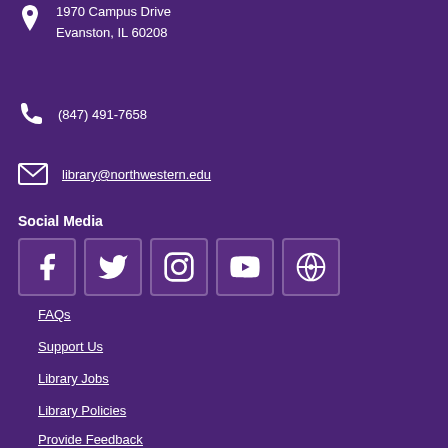1970 Campus Drive
Evanston, IL 60208
(847) 491-7658
library@northwestern.edu
Social Media
[Figure (infographic): Social media icons: Facebook, Twitter, Instagram, YouTube, WordPress]
FAQs
Support Us
Library Jobs
Library Policies
Provide Feedback